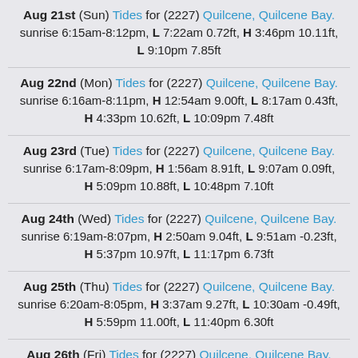Aug 21st (Sun) Tides for (2227) Quilcene, Quilcene Bay. sunrise 6:15am-8:12pm, L 7:22am 0.72ft, H 3:46pm 10.11ft, L 9:10pm 7.85ft
Aug 22nd (Mon) Tides for (2227) Quilcene, Quilcene Bay. sunrise 6:16am-8:11pm, H 12:54am 9.00ft, L 8:17am 0.43ft, H 4:33pm 10.62ft, L 10:09pm 7.48ft
Aug 23rd (Tue) Tides for (2227) Quilcene, Quilcene Bay. sunrise 6:17am-8:09pm, H 1:56am 8.91ft, L 9:07am 0.09ft, H 5:09pm 10.88ft, L 10:48pm 7.10ft
Aug 24th (Wed) Tides for (2227) Quilcene, Quilcene Bay. sunrise 6:19am-8:07pm, H 2:50am 9.04ft, L 9:51am -0.23ft, H 5:37pm 10.97ft, L 11:17pm 6.73ft
Aug 25th (Thu) Tides for (2227) Quilcene, Quilcene Bay. sunrise 6:20am-8:05pm, H 3:37am 9.27ft, L 10:30am -0.49ft, H 5:59pm 11.00ft, L 11:40pm 6.30ft
Aug 26th (Fri) Tides for (2227) Quilcene, Quilcene Bay. sunrise 6:21am-8:03pm, H 4:19am 9.50ft, L 11:06am -0.60ft, H 6:18pm 11.04ft
Aug 27th (Sat) Tides for (2227) Quilcene, Quilcene Bay.